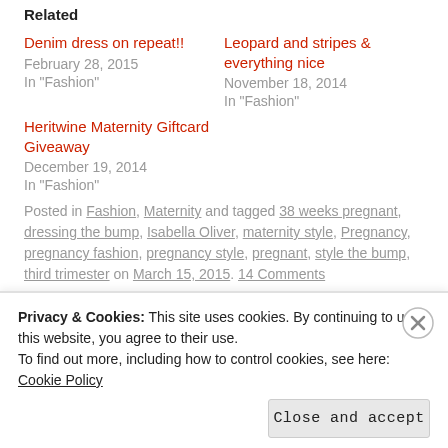Related
Denim dress on repeat!!
February 28, 2015
In "Fashion"
Leopard and stripes & everything nice
November 18, 2014
In "Fashion"
Heritwine Maternity Giftcard Giveaway
December 19, 2014
In "Fashion"
Posted in Fashion, Maternity and tagged 38 weeks pregnant, dressing the bump, Isabella Oliver, maternity style, Pregnancy, pregnancy fashion, pregnancy style, pregnant, style the bump, third trimester on March 15, 2015. 14 Comments
Privacy & Cookies: This site uses cookies. By continuing to use this website, you agree to their use.
To find out more, including how to control cookies, see here: Cookie Policy
Close and accept